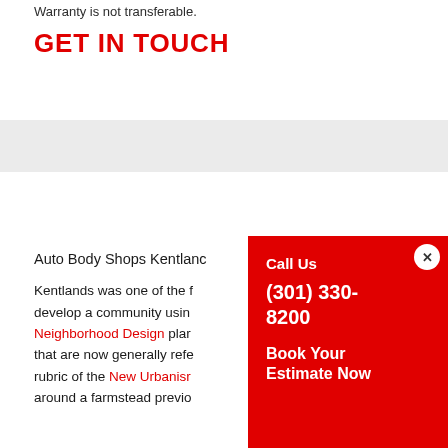Warranty is not transferable.
GET IN TOUCH
Auto Body Shops Kentland
Kentlands was one of the first communities to develop a community using Neighborhood Design plans that are now generally referred to under the rubric of the New Urbanism around a farmstead previously
[Figure (other): Red popup overlay with close button, showing 'Call Us (301) 330-8200' and 'Book Your Estimate Now']